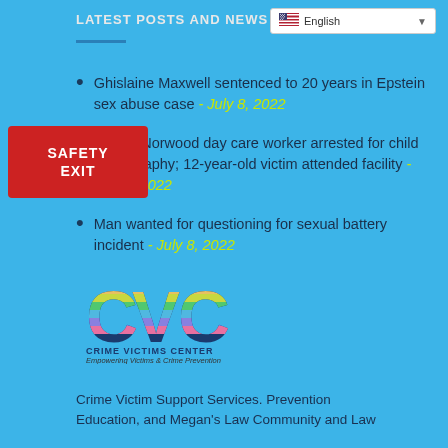LATEST POSTS AND NEWS
Ghislaine Maxwell sentenced to 20 years in Epstein sex abuse case - July 8, 2022
Police: Norwood day care worker arrested for child pornography; 12-year-old victim attended facility - July 8, 2022
Man wanted for questioning for sexual battery incident - July 8, 2022
[Figure (logo): CVC Crime Victims Center logo with rainbow-striped C letters and tagline Empowering Victims & Crime Prevention]
Crime Victim Support Services. Prevention Education, and Megan's Law Community and Law